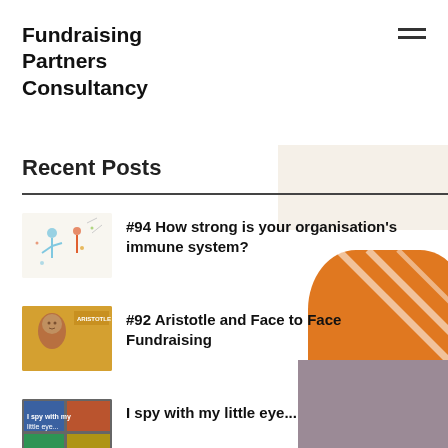Fundraising Partners Consultancy
Recent Posts
#94 How strong is your organisation's immune system?
#92 Aristotle and Face to Face Fundraising
I spy with my little eye...